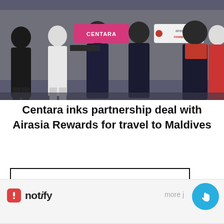[Figure (photo): Group photo of several people standing together, some holding pink and white banners/signs. The pink sign reads 'CENTARA' and the white sign on the right reads 'airasia rewards'. People are dressed in business attire against a dark background.]
Centara inks partnership deal with Airasia Rewards for travel to Maldives
SEARCH ...
[Figure (screenshot): Notify app notification bar at the bottom of the screen, showing the Notify logo (red square with white exclamation) and the text 'notify', with 'more j...' partially visible on the right, and a blue circular FAB button with a hand/pointer icon.]